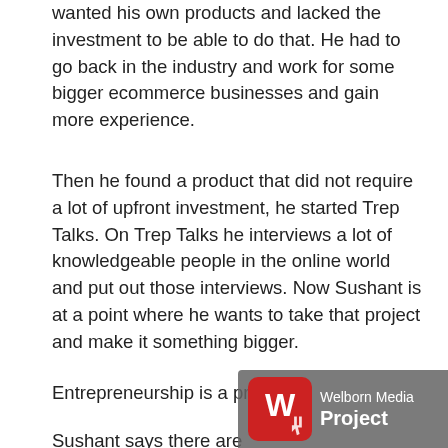wanted his own products and lacked the investment to be able to do that. He had to go back in the industry and work for some bigger ecommerce businesses and gain more experience.
Then he found a product that did not require a lot of upfront investment, he started Trep Talks. On Trep Talks he interviews a lot of knowledgeable people in the online world and put out those interviews. Now Sushant is at a point where he wants to take that project and make it something bigger.
Entrepreneurship is a process.
Sushant says there are two kinds of people who become entrepreneurs. One kind is an accidental entrepreneurship, these are people who have worked 15 – 30 years, they have an acquire lot about a certain industry. Now wi
[Figure (logo): Welborn Media Project logo — red rounded square with white W icon and hand cursor, grey background with white text 'Welborn Media Project']